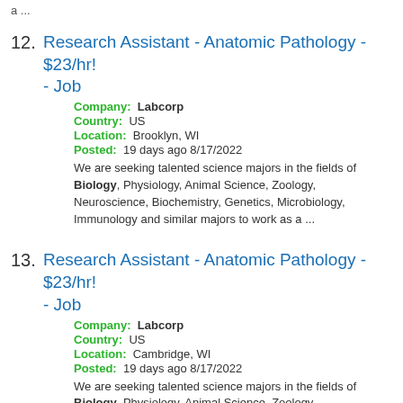a ...
12. Research Assistant - Anatomic Pathology - $23/hr! - Job
Company: Labcorp
Country: US
Location: Brooklyn, WI
Posted: 19 days ago 8/17/2022
We are seeking talented science majors in the fields of Biology, Physiology, Animal Science, Zoology, Neuroscience, Biochemistry, Genetics, Microbiology, Immunology and similar majors to work as a ...
13. Research Assistant - Anatomic Pathology - $23/hr! - Job
Company: Labcorp
Country: US
Location: Cambridge, WI
Posted: 19 days ago 8/17/2022
We are seeking talented science majors in the fields of Biology, Physiology, Animal Science, Zoology, Neuroscience, Biochemistry, Genetics, Microbiology, Immunology and similar majors to work as a ...